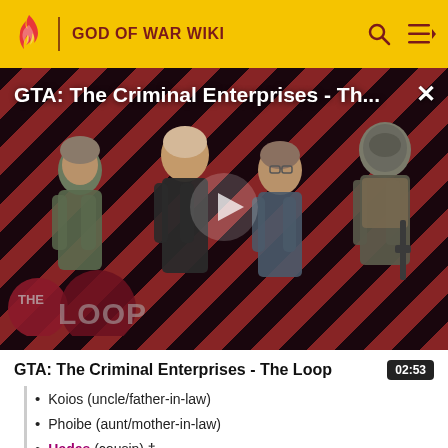GOD OF WAR WIKI
[Figure (screenshot): Video thumbnail for GTA: The Criminal Enterprises - The Loop, showing game characters against a diagonal red and dark striped background with The Loop logo and a play button overlay]
GTA: The Criminal Enterprises - The Loop
02:53
Koios (uncle/father-in-law)
Phoibe (aunt/mother-in-law)
Hades (cousin) †
Poseidon (cousin) †